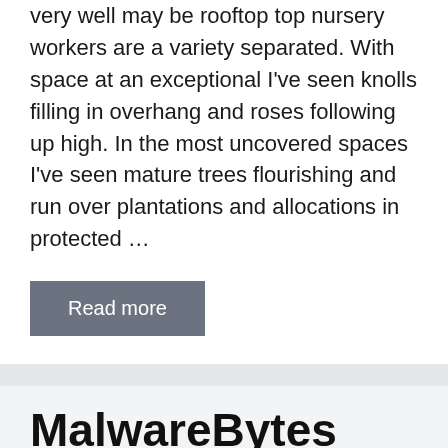very well may be rooftop top nursery workers are a variety separated. With space at an exceptional I've seen knolls filling in overhang and roses following up high. In the most uncovered spaces I've seen mature trees flourishing and run over plantations and allocations in protected …
Read more
MalwareBytes Anti-Malware – For Free
July 28, 2022 by admin